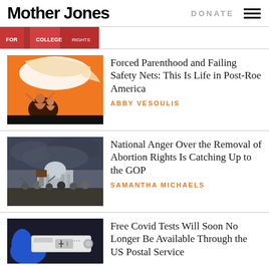Mother Jones | DONATE
[Figure (photo): Partial top image strip showing protest banners in red, cropped]
Forced Parenthood and Failing Safety Nets: This Is Life in Post-Roe America
ABBY VESOULIS
[Figure (photo): Illustration on orange background of figures with hands overhead]
National Anger Over the Removal of Abortion Rights Is Catching Up to the GOP
SAMANTHA MICHAELS
[Figure (photo): Protest scene outside capitol building with stormy sky]
Free Covid Tests Will Soon No Longer Be Available Through the US Postal Service
[Figure (photo): Close-up of Covid rapid test held in gloved hand]